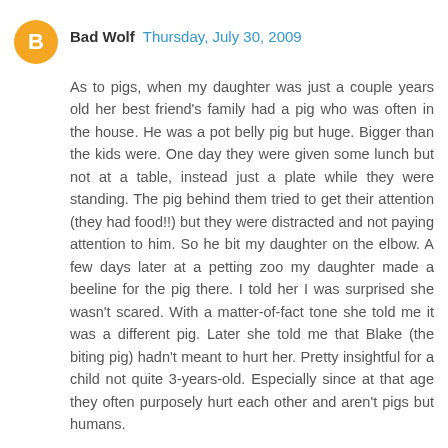Bad Wolf  Thursday, July 30, 2009
As to pigs, when my daughter was just a couple years old her best friend's family had a pig who was often in the house. He was a pot belly pig but huge. Bigger than the kids were. One day they were given some lunch but not at a table, instead just a plate while they were standing. The pig behind them tried to get their attention (they had food!!) but they were distracted and not paying attention to him. So he bit my daughter on the elbow. A few days later at a petting zoo my daughter made a beeline for the pig there. I told her I was surprised she wasn't scared. With a matter-of-fact tone she told me it was a different pig. Later she told me that Blake (the biting pig) hadn't meant to hurt her. Pretty insightful for a child not quite 3-years-old. Especially since at that age they often purposely hurt each other and aren't pigs but humans.
Even though I no longer eat eggs I do take care of a large flock of pastured chickens part-time because they are a hoot (so to speak). They all have personalities and are very intelligent and funny. They gather in anticipation of my